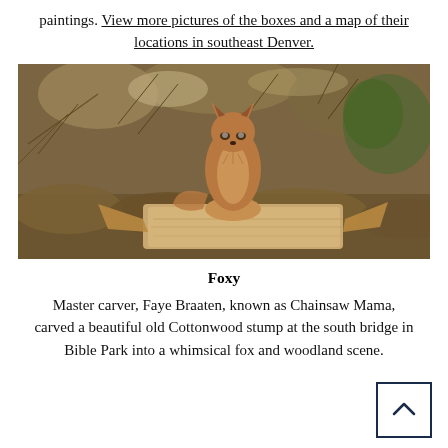paintings. View more pictures of the boxes and a map of their locations in southeast Denver.
[Figure (photo): A wooden fox sculpture carved from a Cottonwood stump, sitting on a flat wooden surface with dry shrubby vegetation in the background. A carved bird figure is visible below the fox.]
Foxy
Master carver, Faye Braaten, known as Chainsaw Mama, carved a beautiful old Cottonwood stump at the south bridge in Bible Park into a whimsical fox and woodland scene.